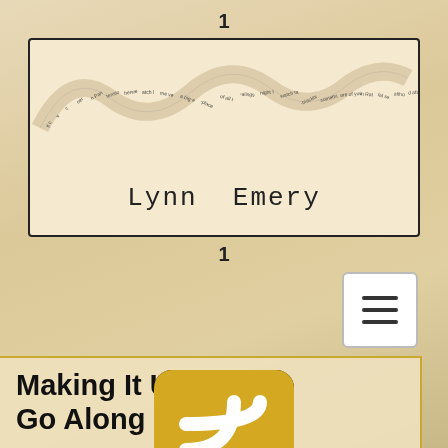1
[Figure (logo): Lynn Emery blog logo with decorative text ribbon forming a winding snake/path shape above the handwritten-style text 'Lynn Emery']
1
[Figure (other): Hamburger menu button icon (three horizontal lines)]
Making It Up As I Go Along
[Figure (other): RSS feed icon — golden/yellow rounded square with white RSS signal symbol]